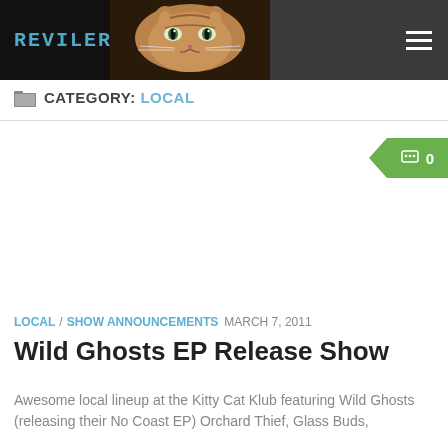[Figure (photo): Reviler website header with logo text and cat photo on dark background, with hamburger menu icon on the right]
CATEGORY: LOCAL
0 comments badge
LOCAL / SHOW ANNOUNCEMENTS  MARCH 7, 2011
Wild Ghosts EP Release Show
Awesome local lineup at the Kitty Cat Klub featuring Wild Ghosts (releasing their No Coast EP) Orchard Thief, Glass Buds,